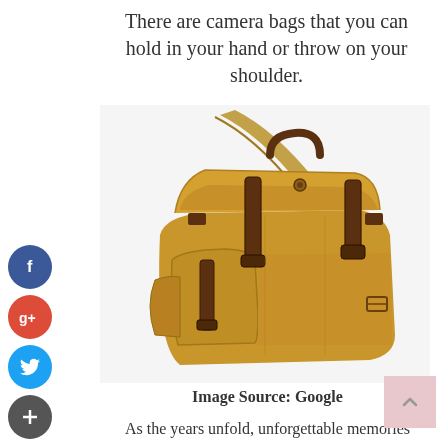There are camera bags that you can hold in your hand or throw on your shoulder.
[Figure (photo): A tan/khaki canvas camera bag with brown leather straps, buckles, and shoulder strap, displayed on white background.]
Image Source: Google
As the years unfold, unforgettable memories